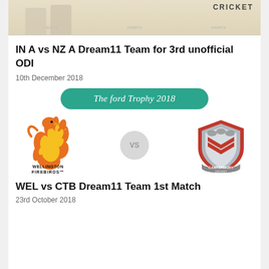[Figure (photo): Top portion of a cricket-related image with 'CRICKET' text visible and 'readers' watermarks repeated across image]
IN A vs NZ A Dream11 Team for 3rd unofficial ODI
10th December 2018
[Figure (illustration): The ford Trophy 2018 banner with teal/green rounded rectangle button]
[Figure (illustration): Wellington Firebirds logo on left (orange firebird/phoenix), VS circle in center, Canterbury Cricket shield logo on right (red/silver shield with cricket motifs)]
WEL vs CTB Dream11 Team 1st Match
23rd October 2018